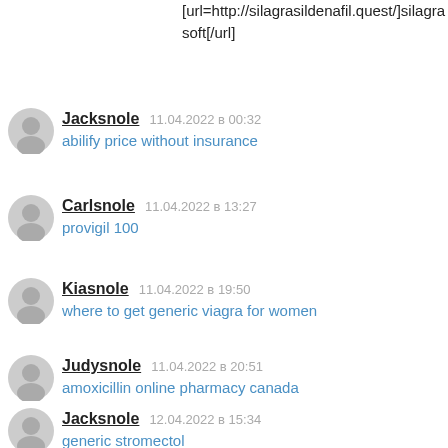[url=http://silagrasildenafil.quest/]silagra soft[/url]
Jacksnole  11.04.2022 в 00:32 — abilify price without insurance
Carlsnole  11.04.2022 в 13:27 — provigil 100
Kiasnole  11.04.2022 в 19:50 — where to get generic viagra for women
Judysnole  11.04.2022 в 20:51 — amoxicillin online pharmacy canada
Jacksnole  12.04.2022 в 15:34 — generic stromectol